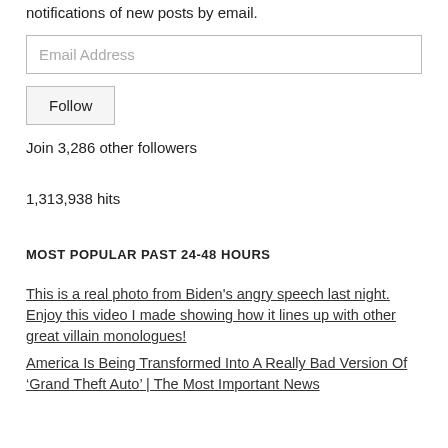notifications of new posts by email.
Email Address
Follow
Join 3,286 other followers
1,313,938 hits
MOST POPULAR PAST 24-48 HOURS
This is a real photo from Biden's angry speech last night. Enjoy this video I made showing how it lines up with other great villain monologues!
America Is Being Transformed Into A Really Bad Version Of ‘Grand Theft Auto’ | The Most Important News